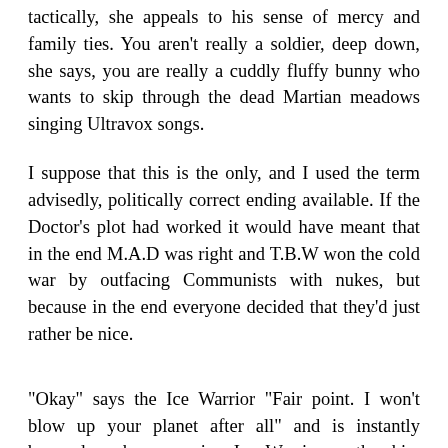tactically, she appeals to his sense of mercy and family ties. You aren't really a soldier, deep down, she says, you are really a cuddly fluffy bunny who wants to skip through the dead Martian meadows singing Ultravox songs.
I suppose that this is the only, and I used the term advisedly, politically correct ending available. If the Doctor's plot had worked it would have meant that in the end M.A.D was right and T.B.W won the cold war by outfacing Communists with nukes, but because in the end everyone decided that they'd just rather be nice.
"Okay" says the Ice Warrior "Fair point. I won't blow up your planet after all" and is instantly beamed up by a passing Ice Warrior mothership. This is almost exactly as believable as a frozen Alexander the Great being discovered at the North Pole, and the first thing he does after he's been defrosted is send out a carrier pigeon and 40 minutes later a Greek Aircraft Carrier arrives at the